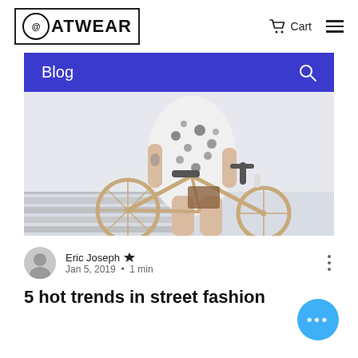@ATWEAR  Cart  ☰
Blog
[Figure (photo): Person in a floral dress standing with a tan/beige tandem bicycle on a striped concrete surface; photo shows torso and legs only, tattooed arm visible]
Eric Joseph ✦  Jan 5, 2019 · 1 min
5 hot trends in street fashion